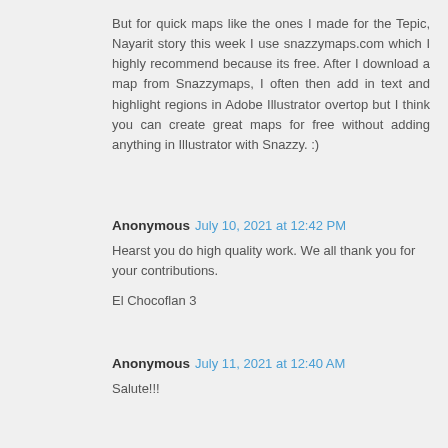But for quick maps like the ones I made for the Tepic, Nayarit story this week I use snazzymaps.com which I highly recommend because its free. After I download a map from Snazzymaps, I often then add in text and highlight regions in Adobe Illustrator overtop but I think you can create great maps for free without adding anything in Illustrator with Snazzy. :)
Anonymous  July 10, 2021 at 12:42 PM
Hearst you do high quality work. We all thank you for your contributions.
El Chocoflan 3
Anonymous  July 11, 2021 at 12:40 AM
Salute!!!